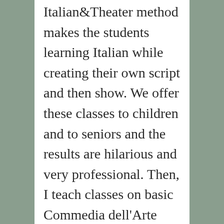Italian&Theater method makes the students learning Italian while creating their own script and then show. We offer these classes to children and to seniors and the results are hilarious and very professional. Then, I teach classes on basic Commedia dell'Arte and I give lectures on Italian cinema and theater. The goal is again to share my culture the way I have experienced it all my life.